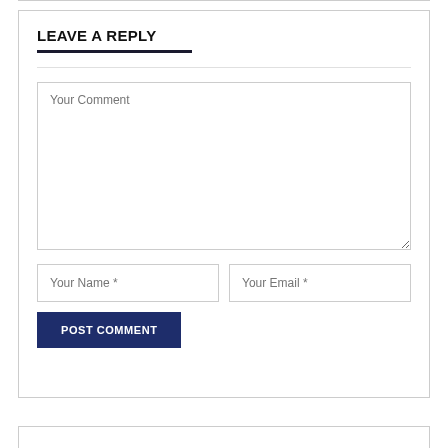LEAVE A REPLY
Your Comment
Your Name *
Your Email *
POST COMMENT